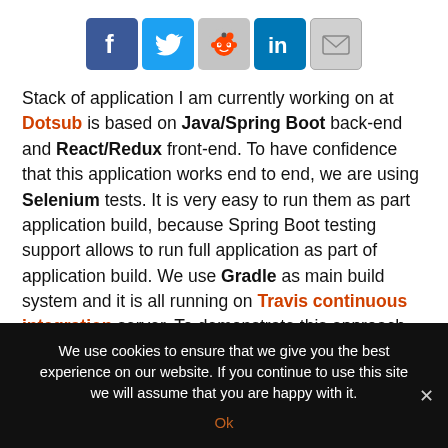[Figure (infographic): Row of 5 social media sharing icons: Facebook (blue), Twitter (blue), Reddit (grey with alien), LinkedIn (blue), Email (grey envelope)]
Stack of application I am currently working on at Dotsub is based on Java/Spring Boot back-end and React/Redux front-end. To have confidence that this application works end to end, we are using Selenium tests. It is very easy to run them as part application build, because Spring Boot testing support allows to run full application as part of application build. We use Gradle as main build system and it is all running on Travis continuous integration server. To demonstrate this approach for end to end testing I created small Hello World project on GitHub.
We use cookies to ensure that we give you the best experience on our website. If you continue to use this site we will assume that you are happy with it. Ok